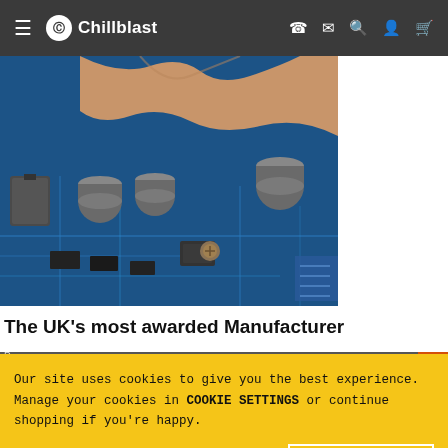Chillblast navigation bar
[Figure (photo): Close-up photo of a blue circuit board (PCB) with capacitors, chips, and electronic components, with fingers handling components visible at the top.]
The UK's most awarded Manufacturer
Our site uses cookies to give you the best experience. Manage your cookies in COOKIE SETTINGS or continue shopping if you're happy.
ACCEPT & CLOSE